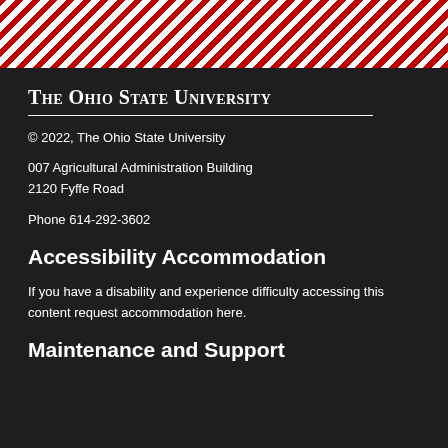[Figure (other): Red and white diagonal striped decorative bar at the top of the page]
The Ohio State University
© 2022, The Ohio State University
007 Agricultural Administration Building
2120 Fyffe Road
Phone 614-292-3602
Accessibility Accommodation
If you have a disability and experience difficulty accessing this content request accommodation here.
Maintenance and Support